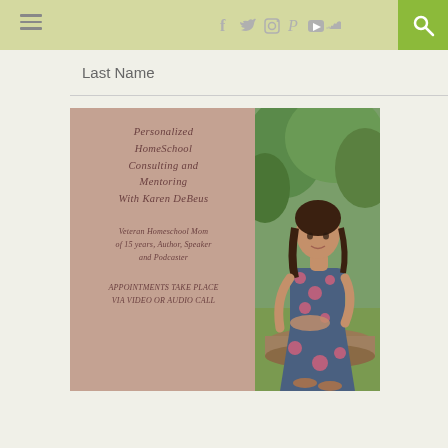Navigation header with hamburger menu, social icons (facebook, twitter, instagram, pinterest, youtube, soundcloud), and search button
Last Name
[Figure (photo): Promotional image for Personalized Homeschool Consulting and Mentoring with Karen DeBeus. Left side has a mauve/dusty rose background with text: 'Personalized Homeschool Consulting and Mentoring With Karen DeBeus. Veteran Homeschool Mom of 15 years, Author, Speaker and Podcaster. Appointments take place via video or audio call.' Right side shows a woman in a floral dress sitting outdoors on a log with green trees in the background.]